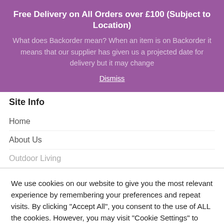Free Delivery on All Orders over £100 (Subject to Location)
What does Backorder mean? When an item is on Backorder it means that our supplier has given us a projected date for delivery but it may change
Dismiss
Site Info
Home
About Us
Outdoor Living
We use cookies on our website to give you the most relevant experience by remembering your preferences and repeat visits. By clicking "Accept All", you consent to the use of ALL the cookies. However, you may visit "Cookie Settings" to provide a controlled consent.
Cookie Settings | Accept All